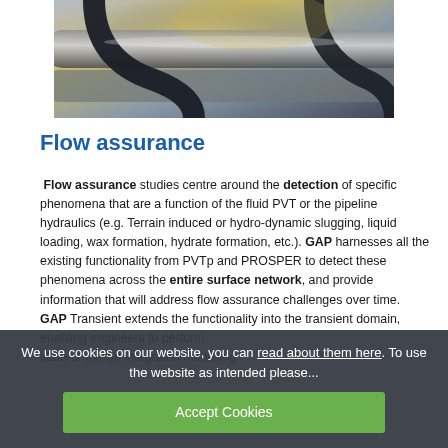[Figure (photo): Close-up photo of industrial pipes or tubes with dark curved fittings against a warm background light]
Flow assurance
Flow assurance studies centre around the detection of specific phenomena that are a function of the fluid PVT or the pipeline hydraulics (e.g. Terrain induced or hydro-dynamic slugging, liquid loading, wax formation, hydrate formation, etc.). GAP harnesses all the existing functionality from PVTp and PROSPER to detect these phenomena across the entire surface network, and provide information that will address flow assurance challenges over time. GAP Transient extends the functionality into the transient domain...
We use cookies on our website, you can read about them here. To use the website as intended please...